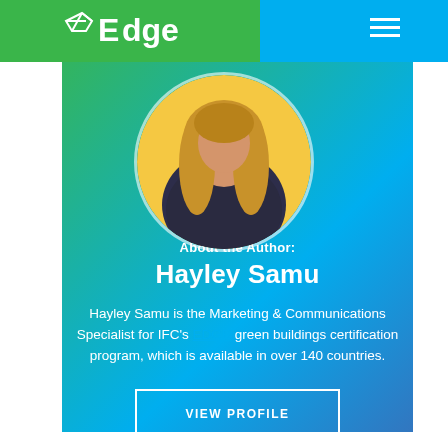Edge
[Figure (photo): Circular profile photo of Hayley Samu, a woman with long blonde hair wearing a dark floral top, with a yellow background visible behind her.]
About the Author:
Hayley Samu
Hayley Samu is the Marketing & Communications Specialist for IFC's EDGE green buildings certification program, which is available in over 140 countries.
VIEW PROFILE